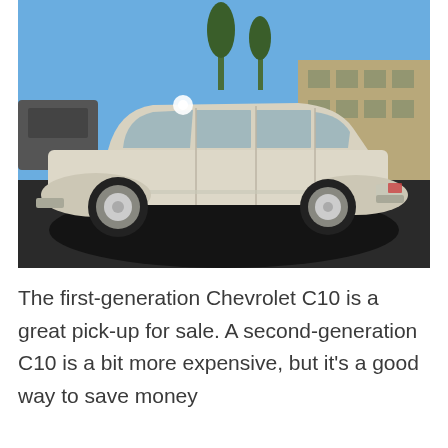[Figure (photo): Side profile photo of a vintage cream/white classic American sedan (resembling a 1950s Chevrolet) parked in a parking lot on a sunny day. The car casts a large shadow on the asphalt. Buildings and other vehicles visible in the background.]
The first-generation Chevrolet C10 is a great pick-up for sale. A second-generation C10 is a bit more expensive, but it's a good way to save money